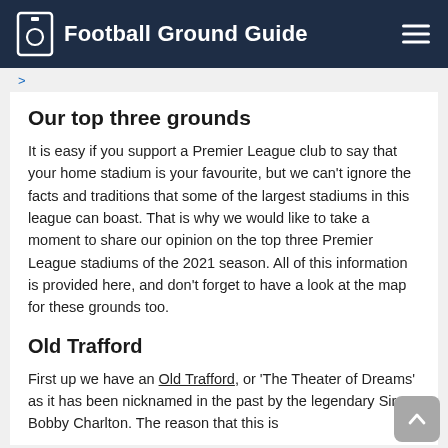Football Ground Guide
>
Our top three grounds
It is easy if you support a Premier League club to say that your home stadium is your favourite, but we can't ignore the facts and traditions that some of the largest stadiums in this league can boast. That is why we would like to take a moment to share our opinion on the top three Premier League stadiums of the 2021 season. All of this information is provided here, and don't forget to have a look at the map for these grounds too.
Old Trafford
First up we have an Old Trafford, or ‘The Theater of Dreams’ as it has been nicknamed in the past by the legendary Sir Bobby Charlton. The reason that this is